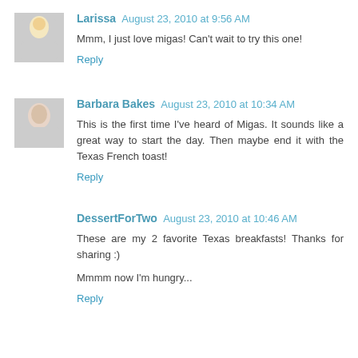Larissa August 23, 2010 at 9:56 AM
Mmm, I just love migas! Can't wait to try this one!
Reply
Barbara Bakes August 23, 2010 at 10:34 AM
This is the first time I've heard of Migas. It sounds like a great way to start the day. Then maybe end it with the Texas French toast!
Reply
DessertForTwo August 23, 2010 at 10:46 AM
These are my 2 favorite Texas breakfasts! Thanks for sharing :)
Mmmm now I'm hungry...
Reply